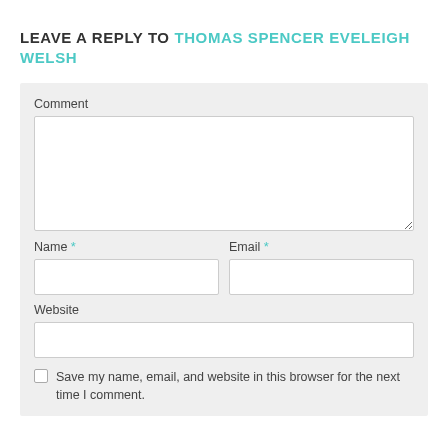LEAVE A REPLY TO THOMAS SPENCER EVELEIGH WELSH
Comment
Name *
Email *
Website
Save my name, email, and website in this browser for the next time I comment.